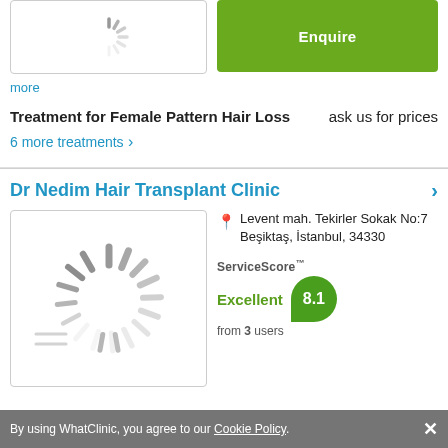[Figure (illustration): Loading spinner image placeholder (partial, cropped at top)]
[Figure (other): Green Enquire button]
more
Treatment for Female Pattern Hair Loss   ask us for prices
6 more treatments ›
Dr Nedim Hair Transplant Clinic
[Figure (illustration): Loading spinner image placeholder for clinic]
Levent mah. Tekirler Sokak No:7 Beşiktaş, İstanbul, 34330
ServiceScore™ Excellent 8.1 from 3 users
By using WhatClinic, you agree to our Cookie Policy. ×